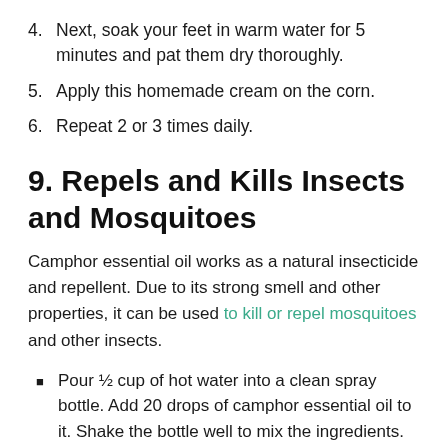4. Next, soak your feet in warm water for 5 minutes and pat them dry thoroughly.
5. Apply this homemade cream on the corn.
6. Repeat 2 or 3 times daily.
9. Repels and Kills Insects and Mosquitoes
Camphor essential oil works as a natural insecticide and repellent. Due to its strong smell and other properties, it can be used to kill or repel mosquitoes and other insects.
Pour ½ cup of hot water into a clean spray bottle. Add 20 drops of camphor essential oil to it. Shake the bottle well to mix the ingredients. Spray this solution around places where you notice insects or mosquitoes.